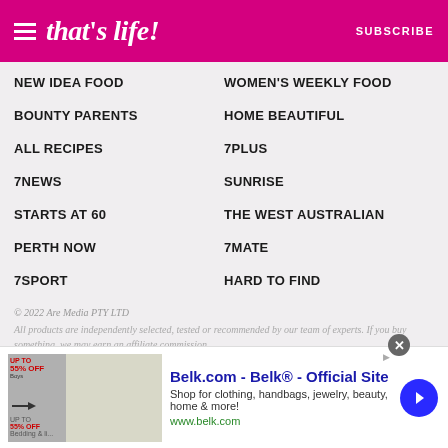that's life! | SUBSCRIBE
NEW IDEA FOOD
WOMEN'S WEEKLY FOOD
BOUNTY PARENTS
HOME BEAUTIFUL
ALL RECIPES
7PLUS
7NEWS
SUNRISE
STARTS AT 60
THE WEST AUSTRALIAN
PERTH NOW
7MATE
7SPORT
HARD TO FIND
© 2022 Are Media PTY LTD
All products are independently selected, tested or recommended by our team of experts. If you buy something, we may earn an affiliate commission.
[Figure (screenshot): Advertisement banner for Belk.com - Belk® - Official Site. Shop for clothing, handbags, jewelry, beauty, home & more! www.belk.com]